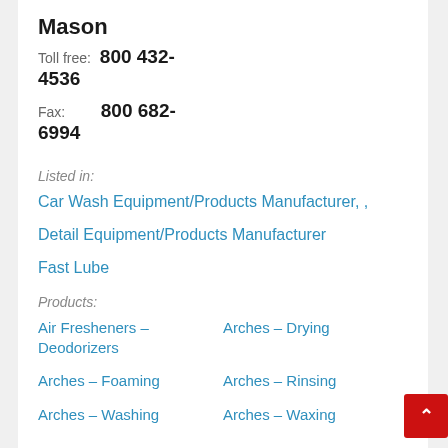Mason
Toll free: 800 432-4536
Fax: 800 682-6994
Listed in:
Car Wash Equipment/Products Manufacturer, ,
Detail Equipment/Products Manufacturer
Fast Lube
Products:
Air Fresheners – Deodorizers
Arches – Drying
Arches – Foaming
Arches – Rinsing
Arches – Washing
Arches – Waxing